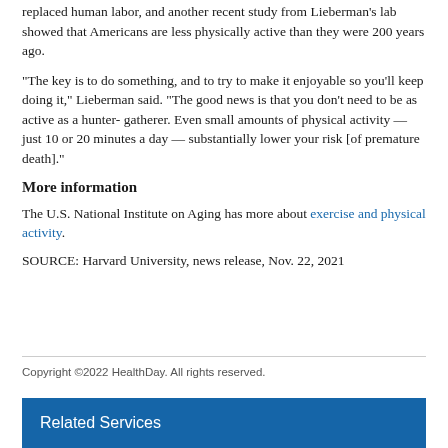replaced human labor, and another recent study from Lieberman's lab showed that Americans are less physically active than they were 200 years ago.
"The key is to do something, and to try to make it enjoyable so you'll keep doing it," Lieberman said. "The good news is that you don't need to be as active as a hunter- gatherer. Even small amounts of physical activity — just 10 or 20 minutes a day — substantially lower your risk [of premature death]."
More information
The U.S. National Institute on Aging has more about exercise and physical activity.
SOURCE: Harvard University, news release, Nov. 22, 2021
Copyright ©2022 HealthDay. All rights reserved.
Related Services